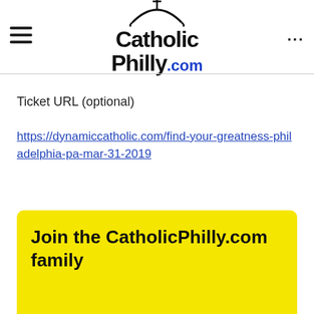[Figure (logo): CatholicPhilly.com logo with church cross icon above text]
Ticket URL (optional)
https://dynamiccatholic.com/find-your-greatness-philadelphia-pa-mar-31-2019
Join the CatholicPhilly.com family